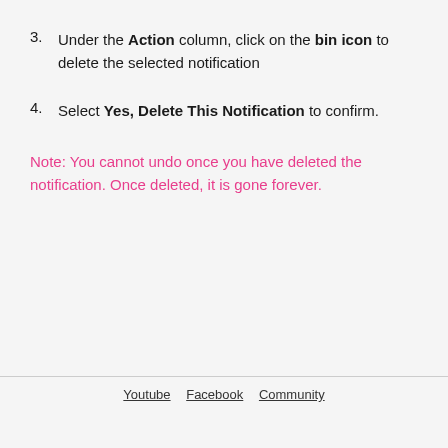3. Under the Action column, click on the bin icon to delete the selected notification
4. Select Yes, Delete This Notification to confirm.
Note: You cannot undo once you have deleted the notification. Once deleted, it is gone forever.
Youtube   Facebook   Community